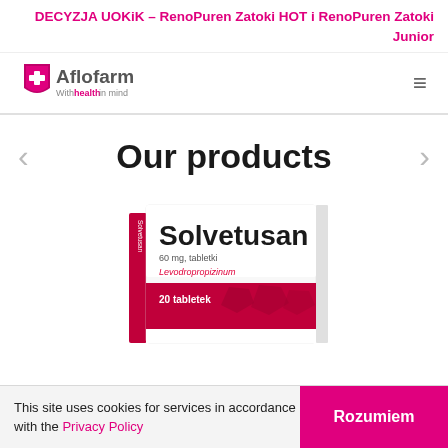DECYZJA UOKiK – RenoPuren Zatoki HOT i RenoPuren Zatoki Junior
[Figure (logo): Aflofarm logo with shield and text 'With health in mind']
Our products
[Figure (photo): Solvetusan 60mg tablet box — white and red packaging, 20 tablets, Levodropropizinum]
This site uses cookies for services in accordance with the Privacy Policy